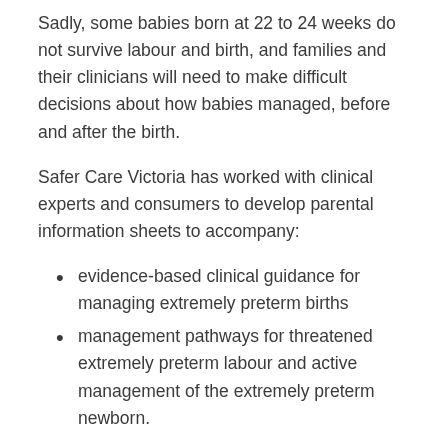Sadly, some babies born at 22 to 24 weeks do not survive labour and birth, and families and their clinicians will need to make difficult decisions about how babies managed, before and after the birth.
Safer Care Victoria has worked with clinical experts and consumers to develop parental information sheets to accompany:
evidence-based clinical guidance for managing extremely preterm births
management pathways for threatened extremely preterm labour and active management of the extremely preterm newborn.
Download the guidance and information sheets [external link]
Guidance on managing at-risk women and extremely premature babies varies across the state, country and